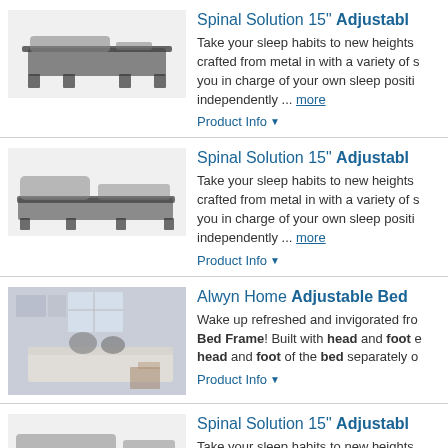[Figure (photo): Adjustable bed frame product image - Spinal Solution 15 inch model, angled view]
Spinal Solution 15" Adjustable [truncated] — Take your sleep habits to new heights crafted from metal in with a variety of s you in charge of your own sleep positi independently ... more
Product Info ▼
[Figure (photo): Adjustable bed frame product image - Spinal Solution 15 inch model, side view with head raised]
Spinal Solution 15" Adjustable [truncated] — Take your sleep habits to new heights crafted from metal in with a variety of s you in charge of your own sleep positi independently ... more
Product Info ▼
[Figure (photo): Alwyn Home Adjustable Bed lifestyle photo - couple sitting on adjustable bed in bedroom]
Alwyn Home Adjustable Bed [truncated] — Wake up refreshed and invigorated fr Bed Frame! Built with head and foot e head and foot of the bed separately o
Product Info ▼
[Figure (photo): Adjustable bed frame product image - Spinal Solution 15 inch model, larger queen/king size view]
Spinal Solution 15" Adjustable [truncated] — Take your sleep habits to new heights crafted from metal in with a variety of s you in charge of your own sleep positi independently ... more
Product Info ▼
[Figure (photo): Alwyn Home Hiroo Twin XL partial image at bottom]
Alwyn Home Hiroo Twin Xl [truncated, partial]